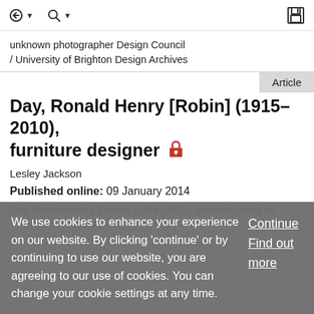unknown photographer Design Council / University of Brighton Design Archives
Article
Day, Ronald Henry [Robin] (1915–2010), furniture designer 🔒
Lesley Jackson
Published online: 09 January 2014
Day, Ronald Henry [Robin] (1915–2010), furniture designer
We use cookies to enhance your experience on our website. By clicking 'continue' or by continuing to use our website, you are agreeing to our use of cookies. You can change your cookie settings at any time.